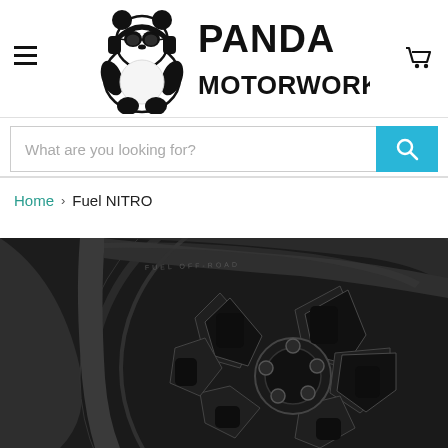[Figure (logo): Panda Motorworks logo with panda mascot wearing headphones and sunglasses, next to bold text PANDA MOTORWORKS]
What are you looking for?
Home > Fuel NITRO
[Figure (photo): Close-up photograph of a matte black Fuel NITRO wheel/rim with angular spoke design and branded ring]